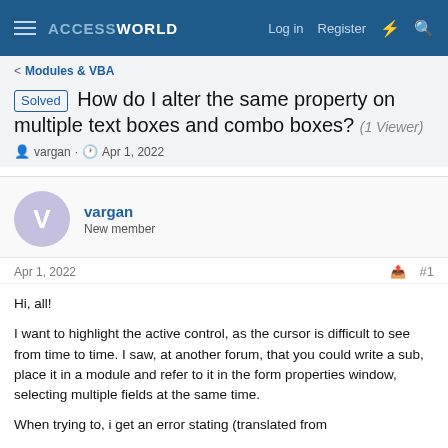ACCESSWORLD  Log in  Register
< Modules & VBA
Solved How do I alter the same property on multiple text boxes and combo boxes? (1 Viewer)
vargan · Apr 1, 2022
vargan
New member
Apr 1, 2022  #1
Hi, all!

I want to highlight the active control, as the cursor is difficult to see from time to time. I saw, at another forum, that you could write a sub, place it in a module and refer to it in the form properties window, selecting multiple fields at the same time.

When trying to, i get an error stating (translated from